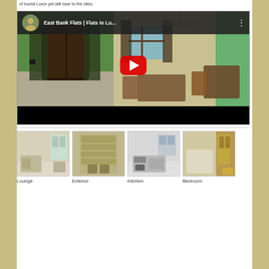of tourist Luxor yet still near to the sites.
[Figure (screenshot): YouTube video embed showing 'East Bank Flats | Flats in Lu...' with a room interior featuring green walls, dark wooden door, curtains, and furniture. Red play button in center. YouTube-style header with avatar and title.]
[Figure (photo): Lounge interior photo showing seating area with chairs and window.]
Lounge
[Figure (photo): Exterior photo showing multi-story building facade with horizontal balconies.]
Exterior
[Figure (photo): Kitchen photo showing appliances and countertop.]
Kitchen
[Figure (photo): Bedroom photo showing door, wardrobe and bed area.]
Bedroom